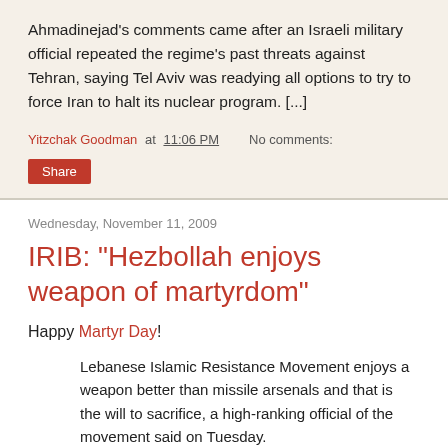Ahmadinejad's comments came after an Israeli military official repeated the regime's past threats against Tehran, saying Tel Aviv was readying all options to try to force Iran to halt its nuclear program. [...]
Yitzchak Goodman at 11:06 PM   No comments:
Share
Wednesday, November 11, 2009
IRIB: "Hezbollah enjoys weapon of martyrdom"
Happy Martyr Day!
Lebanese Islamic Resistance Movement enjoys a weapon better than missile arsenals and that is the will to sacrifice, a high-ranking official of the movement said on Tuesday.